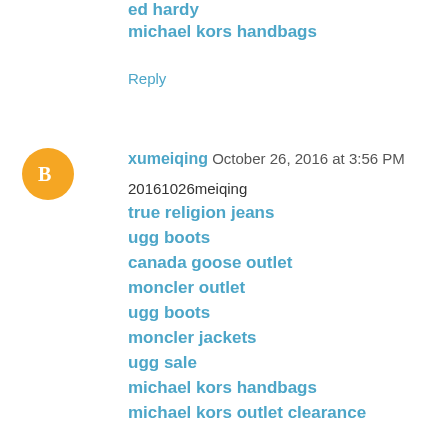ed hardy
michael kors handbags
Reply
[Figure (illustration): Orange circular avatar with blogger 'B' icon]
xumeiqing  October 26, 2016 at 3:56 PM
20161026meiqing
true religion jeans
ugg boots
canada goose outlet
moncler outlet
ugg boots
moncler jackets
ugg sale
michael kors handbags
michael kors outlet clearance
louis vuitton outlet
Reply
[Figure (illustration): Orange circular avatar with blogger 'B' icon (partial)]
Unknown  February 19, 2017 at 3:56 PM